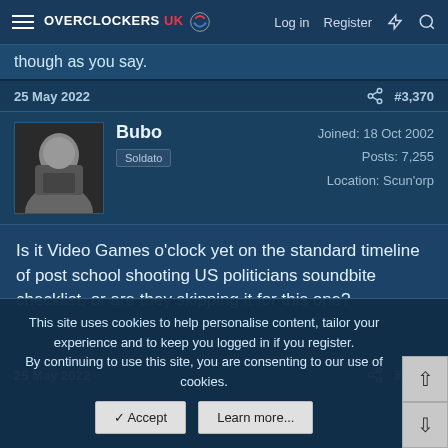OVERCLOCKERS UK | Log in | Register
though as you say.
25 May 2022  #3,370
Bubo
Soldato
Joined: 18 Oct 2002
Posts: 7,255
Location: Scun'orp
Is it Video Games o'clock yet on the standard timeline of post school shooting US politicians soundbite checklist, or are they skipping it for this one?
25 May 2022  #3,371
This site uses cookies to help personalise content, tailor your experience and to keep you logged in if you register.
By continuing to use this site, you are consenting to our use of cookies.